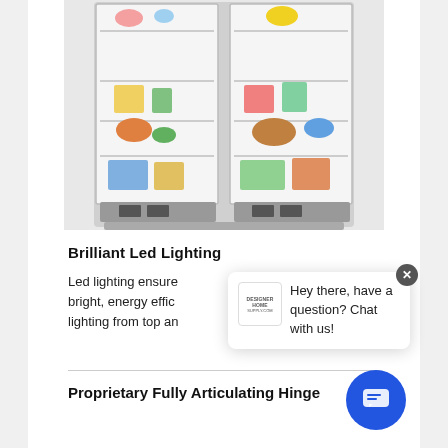[Figure (photo): Open side-by-side refrigerator/freezer with shelves stocked with food and beverages, viewed from front.]
Brilliant Led Lighting
Led lighting ensure bright, energy effic lighting from top an
[Figure (screenshot): Chat popup widget with Designer Home Supply logo and message: 'Hey there, have a question? Chat with us!']
Proprietary Fully Articulating Hinge